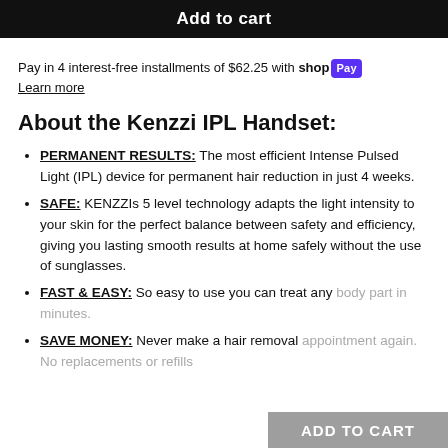Add to cart
Pay in 4 interest-free installments of $62.25 with shop Pay
Learn more
About the Kenzzi IPL Handset:
PERMANENT RESULTS: The most efficient Intense Pulsed Light (IPL) device for permanent hair reduction in just 4 weeks.
SAFE: KENZZIs 5 level technology adapts the light intensity to your skin for the perfect balance between safety and efficiency, giving you lasting smooth results at home safely without the use of sunglasses.
FAST & EASY: So easy to use you can treat any body part in minutes.
SAVE MONEY: Never make a hair removal appointment again. No replacements or refills